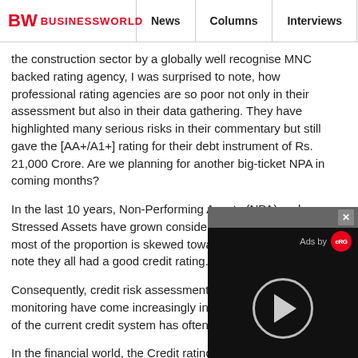BW BUSINESSWORLD | News | Columns | Interviews | BW
the construction sector by a globally well recognise MNC backed rating agency, I was surprised to note, how professional rating agencies are so poor not only in their assessment but also in their data gathering. They have highlighted many serious risks in their commentary but still gave the [AA+/A1+] rating for their debt instrument of Rs. 21,000 Crore. Are we planning for another big-ticket NPA in coming months?
In the last 10 years, Non-Performing Assets (NPA) and Stressed Assets have grown considerably in the economy and most of the proportion is skewed towards corporates. Please note they all had a good credit rating.
Consequently, credit risk assessment, credit administration and monitoring have come increasingly in criticism. The suitability of the current credit system has often come into question.
In the financial world, the Credit rating agen globe are becoming a vital agency in the w risk assessment because credit rating is an indicator to
[Figure (other): Video ad overlay with close button (x), 'Ads by eRG' label, play button circle on dark background, and red progress bar at bottom.]